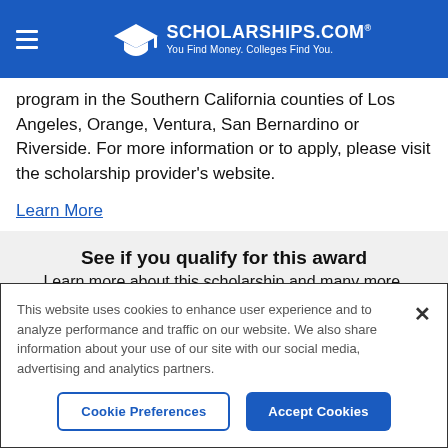SCHOLARSHIPS.COM® — You Find Money. Colleges Find You.
program in the Southern California counties of Los Angeles, Orange, Ventura, San Bernardino or Riverside. For more information or to apply, please visit the scholarship provider's website.
Learn More
See if you qualify for this award
Learn more about this scholarship and many more.
This website uses cookies to enhance user experience and to analyze performance and traffic on our website. We also share information about your use of our site with our social media, advertising and analytics partners.
Cookie Preferences   Accept Cookies